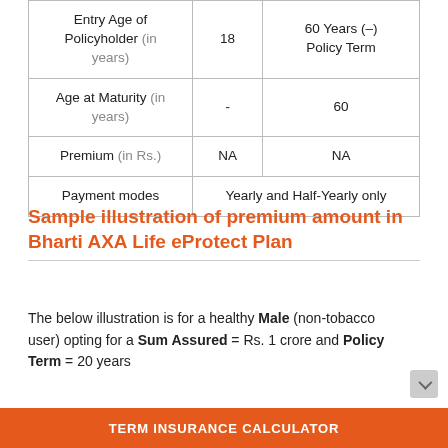|  | Min | Max |
| --- | --- | --- |
| Entry Age of Policyholder (in years) | 18 | 60 Years (–) Policy Term |
| Age at Maturity (in years) | - | 60 |
| Premium (in Rs.) | NA | NA |
| Payment modes | Yearly and Half-Yearly only | Yearly and Half-Yearly only |
Sample illustration of premium amount in Bharti AXA Life eProtect Plan
The below illustration is for a healthy Male (non-tobacco user) opting for a Sum Assured = Rs. 1 crore and Policy Term = 20 years
TERM INSURANCE CALCULATOR